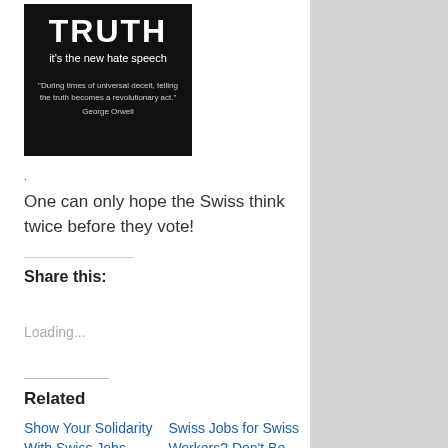[Figure (illustration): Black background image with bold white text reading 'TRUTH it's the new hate speech' and a quote below: 'During times of universal deceit, telling the truth becomes a revolutionary act.' George Orwell]
.
One can only hope the Swiss think twice before they vote!
Share this:
Loading...
Related
Show Your Solidarity With Swiss Jobs...
Swiss Jobs for Swiss Workers? Don't Be...